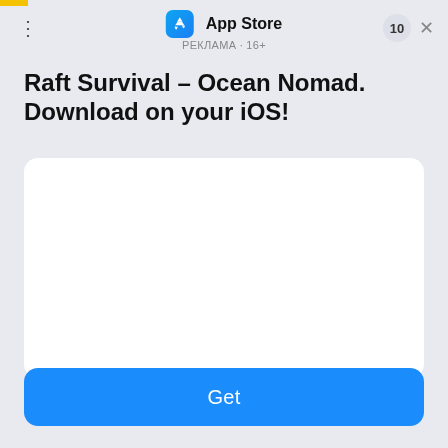[Figure (screenshot): App Store advertisement banner for Raft Survival Ocean Nomad iOS app. Contains App Store icon, ad label in Russian (РЕКЛАМА·16+), three-dot menu, close button with badge 10, app title text, white image placeholder area, and blue Get button.]
App Store
РЕКЛАМА·16+
Raft Survival – Ocean Nomad. Download on your iOS!
Get